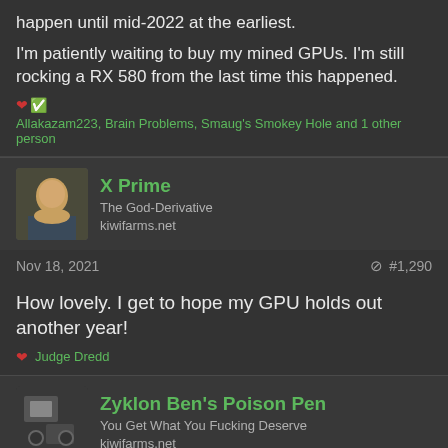happen until mid-2022 at the earliest.

I'm patiently waiting to buy my mined GPUs. I'm still rocking a RX 580 from the last time this happened.
❤️✅ Allakazam223, Brain Problems, Smaug's Smokey Hole and 1 other person
X Prime
The God-Derivative
kiwifarms.net
Nov 18, 2021   #1,290
How lovely. I get to hope my GPU holds out another year!
❤️ Judge Dredd
Zyklon Ben's Poison Pen
You Get What You Fucking Deserve
kiwifarms.net